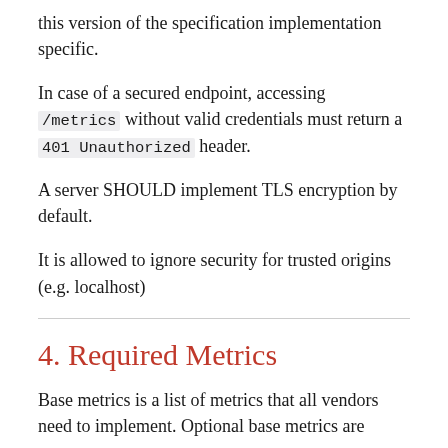this version of the specification implementation specific.
In case of a secured endpoint, accessing /metrics without valid credentials must return a 401 Unauthorized header.
A server SHOULD implement TLS encryption by default.
It is allowed to ignore security for trusted origins (e.g. localhost)
4. Required Metrics
Base metrics is a list of metrics that all vendors need to implement. Optional base metrics are